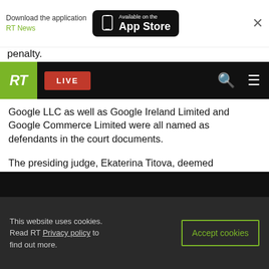Download the application RT News | Available on the App Store
penalty.
[Figure (screenshot): RT website navigation bar with green RT logo, red LIVE button, search icon and hamburger menu on black background]
Google LLC as well as Google Ireland Limited and Google Commerce Limited were all named as defendants in the court documents.
The presiding judge, Ekaterina Titova, deemed Entertainment Television's demands reasonable, pointing out that the channel would likely incur “considerable losses” unless Google’s assets were frozen.
This website uses cookies. Read RT Privacy policy to find out more. | Accept cookies